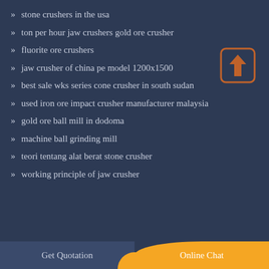stone crushers in the usa
ton per hour jaw crushers gold ore crusher
fluorite ore crushers
jaw crusher of china pe model 1200x1500
best sale wks series cone crusher in south sudan
used iron ore impact crusher manufacturer malaysia
gold ore ball mill in dodoma
machine ball grinding mill
teori tentang alat berat stone crusher
working principle of jaw crusher
Get Quotation   Online Chat